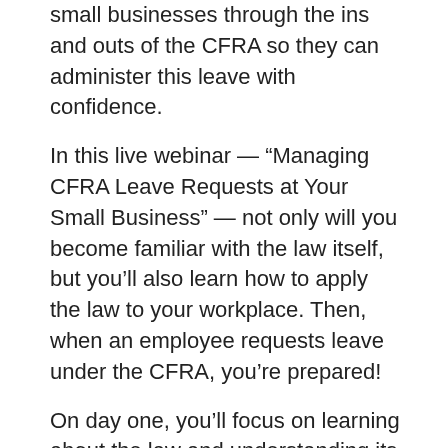small businesses through the ins and outs of the CFRA so they can administer this leave with confidence.
In this live webinar — “Managing CFRA Leave Requests at Your Small Business” — not only will you become familiar with the law itself, but you’ll also learn how to apply the law to your workplace. Then, when an employee requests leave under the CFRA, you’re prepared!
On day one, you’ll focus on learning about the law and understanding its requirements, including such topics as:
Employee eligibility for CFRA leave;
Qualifying reasons for CFRA leave;
Amount of leave available under the CFRA;
Notice and documentation requirements;
Pay and benefits while on CFRA leave; and
Best practices.